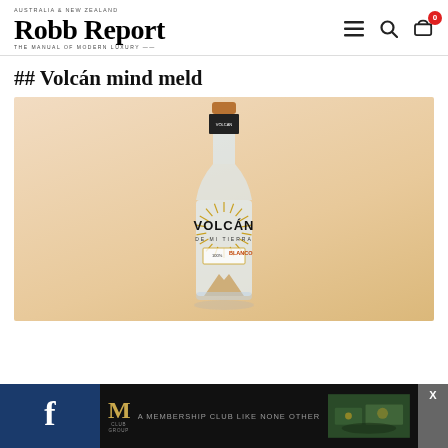Robb Report — AUSTRALIA & NEW ZEALAND — THE MANUAL OF MODERN LUXURY
## Volcán mind meld
[Figure (photo): A bottle of Volcán de Mi Tierra tequila on a warm peach/beige gradient background. The clear glass bottle has a copper cap, a sunburst label design, and shows the volcano mountain at its base.]
partial text (truncated)
[Figure (infographic): Bottom advertisement bar with Facebook icon, M Club membership ad with interior photo, and close button X]